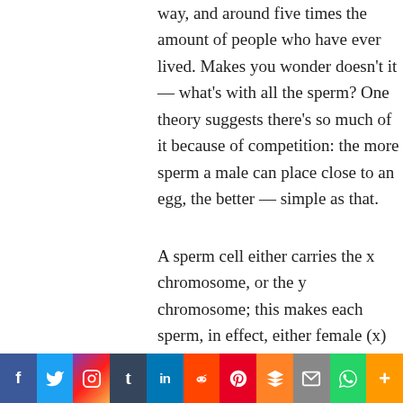way, and around five times the amount of people who have ever lived. Makes you wonder doesn't it — what's with all the sperm? One theory suggests there's so much of it because of competition: the more sperm a male can place close to an egg, the better — simple as that.
A sperm cell either carries the x chromosome, or the y chromosome; this makes each sperm, in effect, either female (x) or male (y). The male sperm cell is faster, but has less energy and a shorter life span; although slower, the female sperm has more stamina and